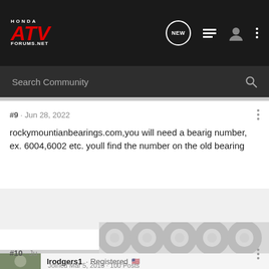Honda ATV Forums.net
Search Community
#9 · Jun 28, 2022
rockymountianbearings.com,you will need a bearig number, ex. 6004,6002 etc. youll find the number on the old bearing
lrodgers1 · Registered
Joined Mar 5, 2013 · 100 Posts
#10 · Ju